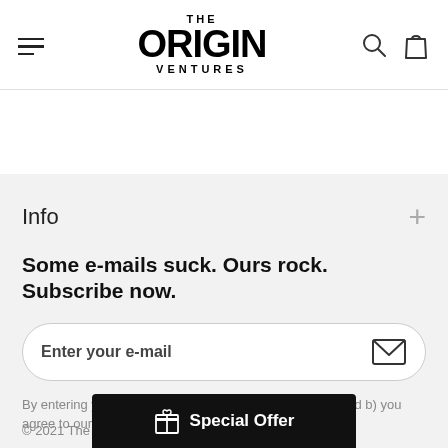THE ORIGIN VENTURES
Info
Some e-mails suck. Ours rock. Subscribe now.
Enter your e-mail
By entering your email, a) you made the right decision, and b) you agree to our terms of service and privacy policy.
© 2021 The Origin V
Special Offer